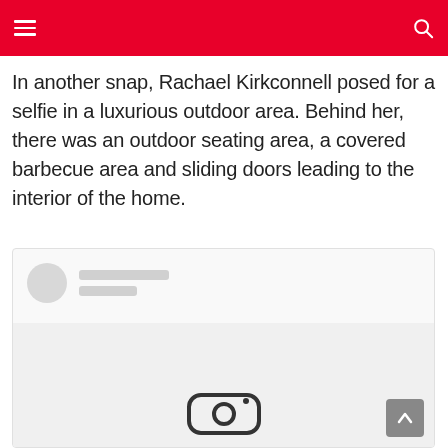Navigation header with hamburger menu and search icon
In another snap, Rachael Kirkconnell posed for a selfie in a luxurious outdoor area. Behind her, there was an outdoor seating area, a covered barbecue area and sliding doors leading to the interior of the home.
[Figure (screenshot): A blurred/loading social media embed (Instagram post) showing a placeholder avatar circle and two gray lines for username/handle, with the bottom portion showing a partially visible Instagram embed loading icon.]